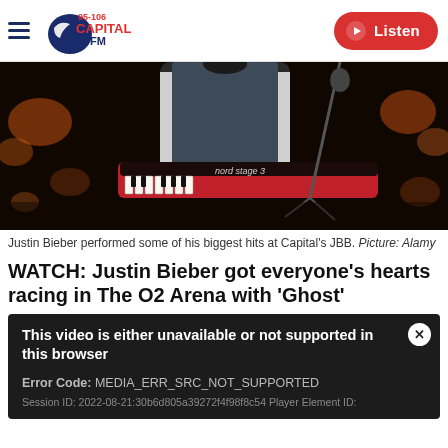95-106 Capital FM | Listen
[Figure (photo): A musician performing at Capital's JBB, seen from behind, playing a Nord Stage 3 keyboard with stage lighting in the background.]
Justin Bieber performed some of his biggest hits at Capital's JBB. Picture: Alamy
WATCH: Justin Bieber got everyone's hearts racing in The O2 Arena with 'Ghost'
This video is either unavailable or not supported in this browser
Error Code: MEDIA_ERR_SRC_NOT_SUPPORTED
Session ID: 2022-08-21:30b6d805a39272f4f98f8c54 Player Element ID: